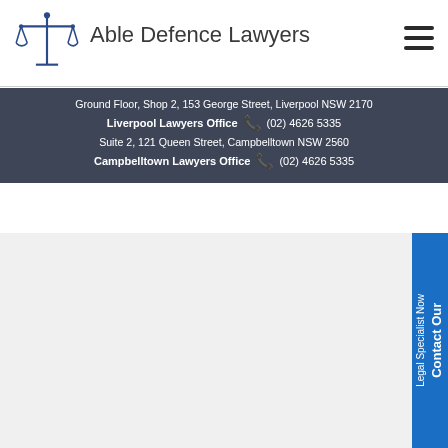[Figure (logo): Able Defence Lawyers scales of justice logo in dark blue]
Able Defence Lawyers
Ground Floor, Shop 2, 153 George Street, Liverpool NSW 2170
Liverpool Lawyers Office  (02) 4626 5335
Suite 2, 121 Queen Street, Campbelltown NSW 2560
Campbelltown Lawyers Office  (02) 4626 5335
Contact Our Legal Specialist Now